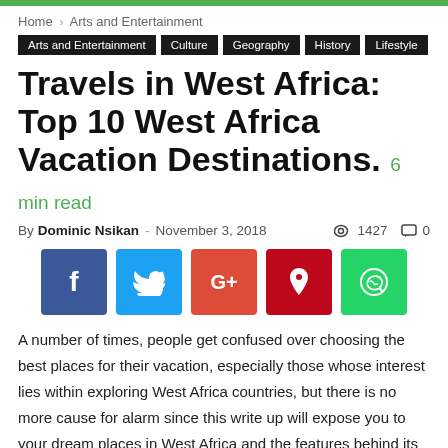Home › Arts and Entertainment
Arts and Entertainment
Culture
Geography
History
Lifestyle
Travels in West Africa: Top 10 West Africa Vacation Destinations. 6 min read
By Dominic Nsikan - November 3, 2018  1427  0
[Figure (other): Social sharing buttons: Facebook, Twitter, Google+, Pinterest, WhatsApp]
A number of times, people get confused over choosing the best places for their vacation, especially those whose interest lies within exploring West Africa countries, but there is no more cause for alarm since this write up will expose you to your dream places in West Africa and the features behind its uniqueness.